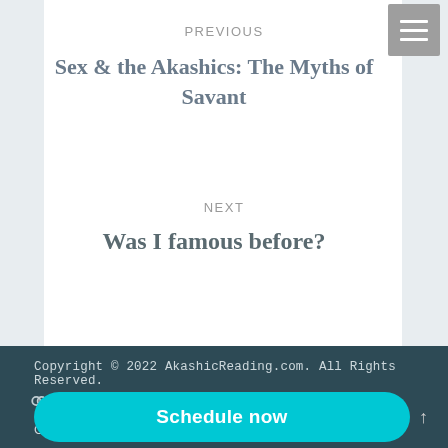PREVIOUS
Sex & the Akashics: The Myths of Savant
NEXT
Was I famous before?
Copyright © 2022 AkashicReading.com. All Rights Reserved.
Privacy Policy
Schedule now